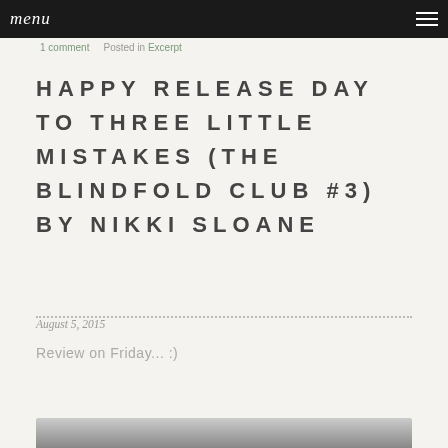menu
1 comment   Posted in Excerpt
HAPPY RELEASE DAY TO THREE LITTLE MISTAKES (THE BLINDFOLD CLUB #3) BY NIKKI SLOANE
August 5, 2015
Review on Friday...  :)